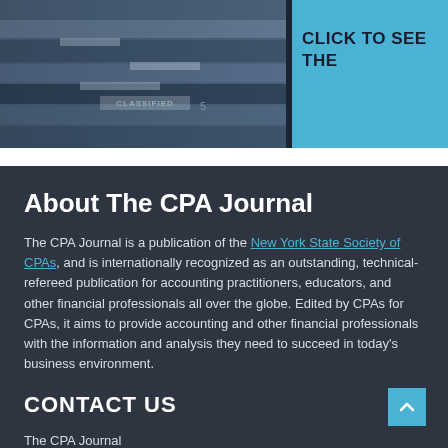[Figure (photo): Photo of stacked file folders or binders labeled 'CLASSIFIED', with dark blue tones, placed on the left side of the top section.]
CLICK TO SEE THE
About The CPA Journal
The CPA Journal is a publication of the New York State Society of CPAs, and is internationally recognized as an outstanding, technical-refereed publication for accounting practitioners, educators, and other financial professionals all over the globe. Edited by CPAs for CPAs, it aims to provide accounting and other financial professionals with the information and analysis they need to succeed in today's business environment.
CONTACT US
The CPA Journal
14 Wall St. 19th Floor
New York, NY 10005